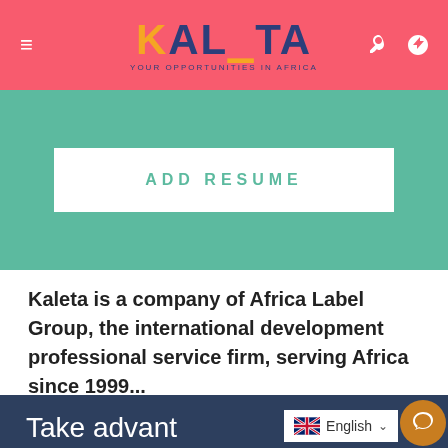KALETA — YOUR OPPORTUNITIES IN AFRICA
[Figure (screenshot): Add Resume button on teal background]
Kaleta is a company of Africa Label Group, the international development professional service firm, serving Africa since 1999...
[Figure (screenshot): Take advantage section on dark blue background with English language selector and chat bubble]